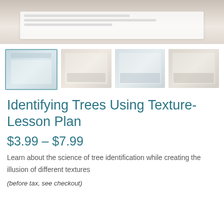[Figure (photo): Main product image showing printed lesson plan pages fanned out on a light surface]
[Figure (photo): Four thumbnail images of the product: spiral-bound booklet, interior pages, chart page, and another interior view]
Identifying Trees Using Texture- Lesson Plan
$3.99 – $7.99
Learn about the science of tree identification while creating the illusion of different textures
(before tax, see checkout)